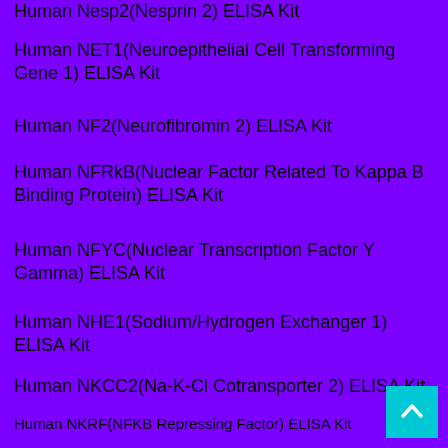Human Nesp2(Nesprin 2) ELISA Kit
Human NET1(Neuroepithelial Cell Transforming Gene 1) ELISA Kit
Human NF2(Neurofibromin 2) ELISA Kit
Human NFRkB(Nuclear Factor Related To Kappa B Binding Protein) ELISA Kit
Human NFYC(Nuclear Transcription Factor Y Gamma) ELISA Kit
Human NHE1(Sodium/Hydrogen Exchanger 1) ELISA Kit
Human NKCC2(Na-K-Cl Cotransporter 2) ELISA Kit
Human NKRF(NFKB Repressing Factor) ELISA Kit
Human NPFF(Neuropeptide FF) ELISA Kit
Human NPR2(Natriuretic Peptide Receptor 2) ELISA Kit